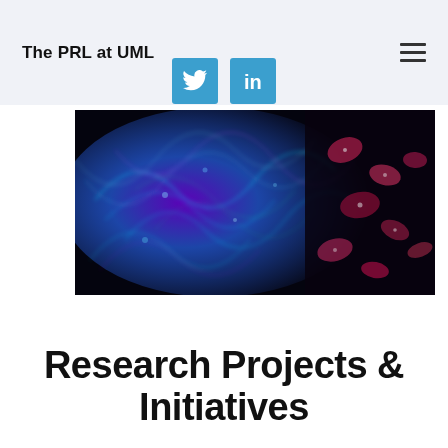The PRL at UML
[Figure (logo): Twitter bird icon (white on blue square)]
[Figure (logo): LinkedIn 'in' icon (white on blue square)]
[Figure (photo): Fluorescence microscopy image showing cells/neurons with blue, cyan, green, and red/pink fluorescent staining against a dark background]
Research Projects & Initiatives